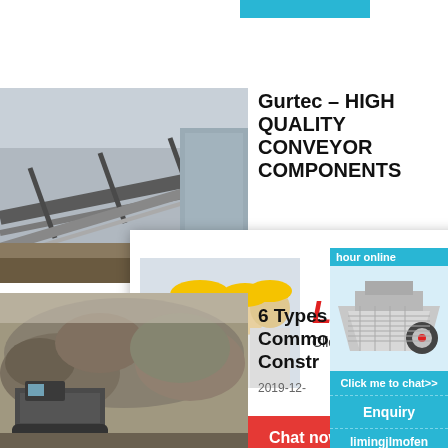[Figure (photo): Cyan/blue horizontal bar at top center]
[Figure (photo): Industrial conveyor belt system machinery at a mining/quarry site]
Gurtec – HIGH QUALITY CONVEYOR COMPONENTS
n 50 years o...
[Figure (screenshot): Live chat popup overlay with workers in yellow hard hats, LIVE CHAT heading in red italic, 'Click for a Free Consultation', Chat now (red) and Chat later (dark) buttons]
hour online
[Figure (photo): Industrial crusher/mill machinery on blue background in sidebar]
Click me to chat>>
Enquiry
limingjlmofen
[Figure (photo): Quarry or construction site with heavy equipment and rock]
6 Types Commo Constr
2019-12-